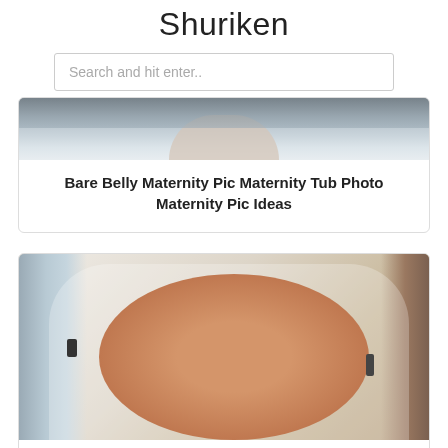Shuriken
Search and hit enter..
[Figure (photo): Partial view of a bathtub or sink with a person/belly visible, cropped at top of card]
Bare Belly Maternity Pic Maternity Tub Photo Maternity Pic Ideas
[Figure (photo): Newborn baby lying in a white tub/sink with chrome faucet visible on the left and wooden surface on the right]
Pui Easy Bathtub Baby Tub Baby Bath Time Baby Bath